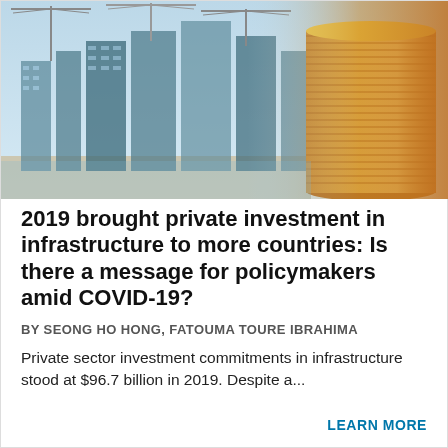[Figure (photo): Photo composite of construction cranes and high-rise buildings under construction (left) blended with a stack of golden coins (right), suggesting infrastructure investment and finance.]
2019 brought private investment in infrastructure to more countries: Is there a message for policymakers amid COVID-19?
BY SEONG HO HONG, FATOUMA TOURE IBRAHIMA
Private sector investment commitments in infrastructure stood at $96.7 billion in 2019. Despite a...
LEARN MORE